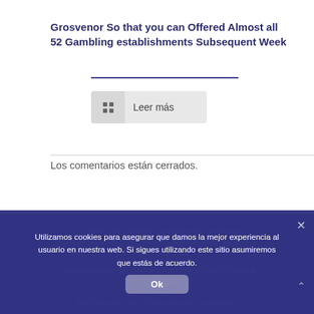Grosvenor So that you can Offered Almost all 52 Gambling establishments Subsequent Week
[Figure (other): Leer más button with grid icon]
Los comentarios están cerrados.
© Cámara de Comercio e Industria de Guatemala
Carrera 8 #43B, 35 – Avenida Honorífica, ciudad de Antigua, Guatemala
Sitio Web Diseñado Por Hipermundos Diseño Web & Publicidad
Nuestra empresa | Política de uso y privacidad
Utilizamos cookies para asegurar que damos la mejor experiencia al usuario en nuestra web. Si sigues utilizando este sitio asumiremos que estás de acuerdo.